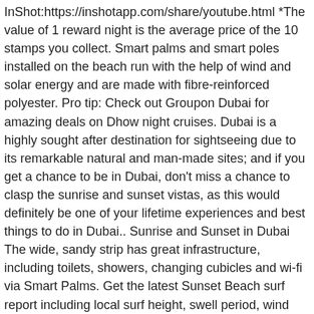InShot:https://inshotapp.com/share/youtube.html *The value of 1 reward night is the average price of the 10 stamps you collect. Smart palms and smart poles installed on the beach run with the help of wind and solar energy and are made with fibre-reinforced polyester. Pro tip: Check out Groupon Dubai for amazing deals on Dhow night cruises. Dubai is a highly sought after destination for sightseeing due to its remarkable natural and man-made sites; and if you get a chance to be in Dubai, don't miss a chance to clasp the sunrise and sunset vistas, as this would definitely be one of your lifetime experiences and best things to do in Dubai.. Sunrise and Sunset in Dubai The wide, sandy strip has great infrastructure, including toilets, showers, changing cubicles and wi-fi via Smart Palms. Get the latest Sunset Beach surf report including local surf height, swell period, wind and tide charts. Learn about surfing in Dubai. The mall serves as a signpost to the Sunset Beach located just behind it. We'll even let you know about secret offers and sales when you sign up to our emails. Le Méridien Mina Seyahi (04 399 3333)., , Bars & Nightlife, Music, Nightlife Click on the Bus route to see step by step directions with … ... Sunset